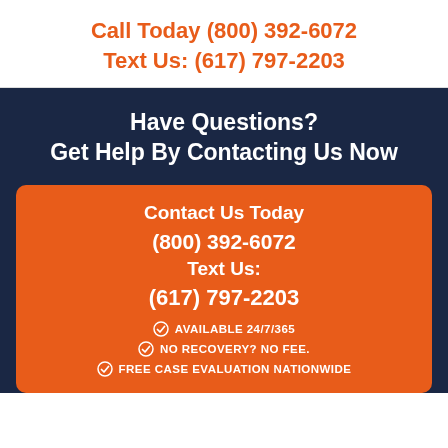Call Today (800) 392-6072
Text Us: (617) 797-2203
Have Questions?
Get Help By Contacting Us Now
Contact Us Today
(800) 392-6072
Text Us:
(617) 797-2203
AVAILABLE 24/7/365
NO RECOVERY? NO FEE.
FREE CASE EVALUATION NATIONWIDE